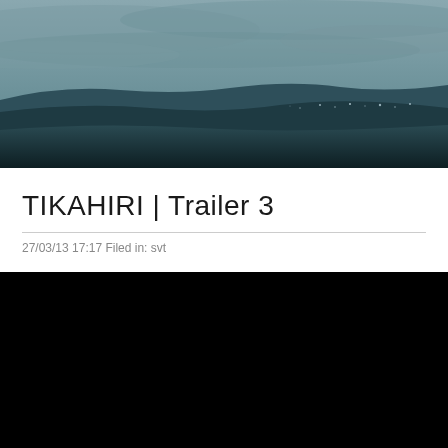[Figure (photo): Moody dark teal/grey landscape photo showing rolling hills or moorland under an overcast cloudy sky, with distant city lights visible at the horizon. Black and white with a blue-green tint.]
TIKAHIRI | Trailer 3
27/03/13 17:17 Filed in: svt
[Figure (other): Black rectangle representing an embedded video player with no content visible.]